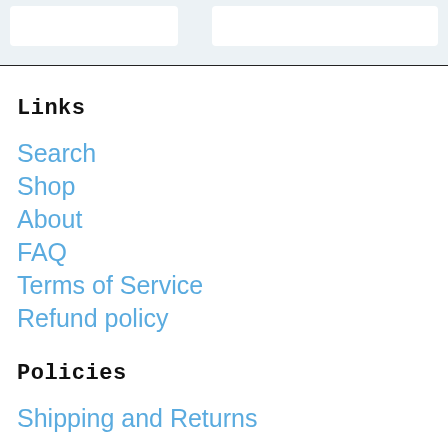Links
Search
Shop
About
FAQ
Terms of Service
Refund policy
Policies
Shipping and Returns